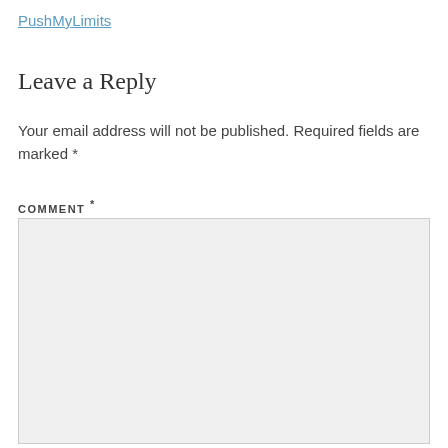PushMyLimits
Leave a Reply
Your email address will not be published. Required fields are marked *
COMMENT *
[Figure (screenshot): Empty comment text area input box with light gray background]